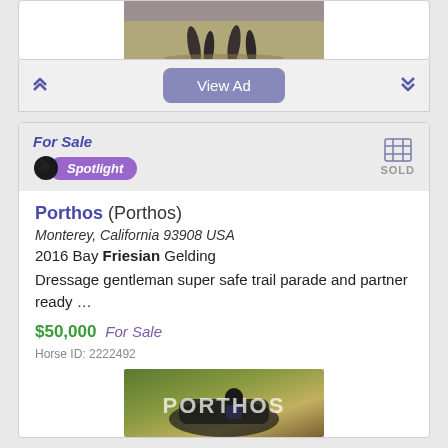[Figure (photo): Horse legs running, cropped top portion of a horse in motion on sandy ground]
View Ad
For Sale
[Figure (logo): Spotlight badge with horse icon and purple oval]
SOLD
Porthos (Porthos)
Monterey, California 93908 USA
2016 Bay Friesian Gelding
Dressage gentleman super safe trail parade and partner ready …
$50,000   For Sale
Horse ID: 2222492
[Figure (photo): Photo of Porthos horse with rider, large text PORTHOS overlaid on image]